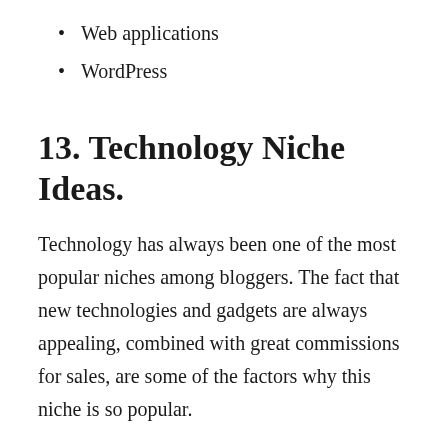Web applications
WordPress
13. Technology Niche Ideas.
Technology has always been one of the most popular niches among bloggers. The fact that new technologies and gadgets are always appealing, combined with great commissions for sales, are some of the factors why this niche is so popular.
Some technology niche ideas are:
Software reviews